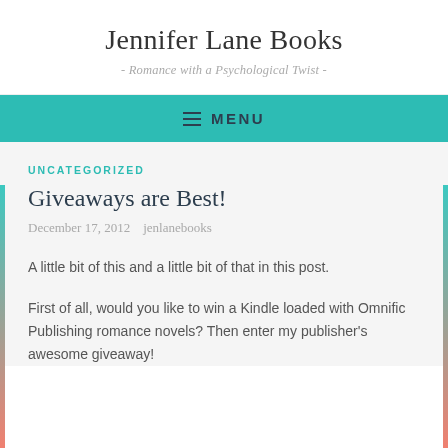Jennifer Lane Books
- Romance with a Psychological Twist -
≡ MENU
UNCATEGORIZED
Giveaways are Best!
December 17, 2012   jenlanebooks
A little bit of this and a little bit of that in this post.
First of all, would you like to win a Kindle loaded with Omnific Publishing romance novels? Then enter my publisher's awesome giveaway!